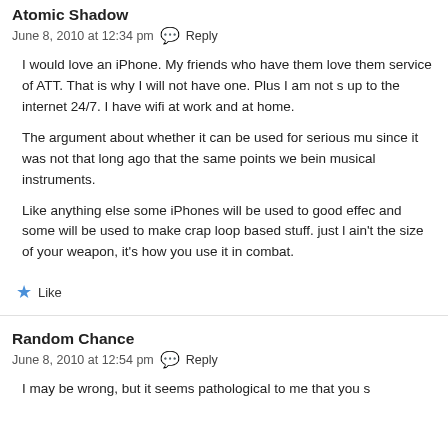Atomic Shadow
June 8, 2010 at 12:34 pm  Reply
I would love an iPhone. My friends who have them love them service of ATT. That is why I will not have one. Plus I am not up to the internet 24/7. I have wifi at work and at home.

The argument about whether it can be used for serious mu since it was not that long ago that the same points we bein musical instruments.

Like anything else some iPhones will be used to good effec and some will be used to make crap loop based stuff. just ain't the size of your weapon, it's how you use it in combat.
Like
Random Chance
June 8, 2010 at 12:54 pm  Reply
I may be wrong, but it seems pathological to me that you s